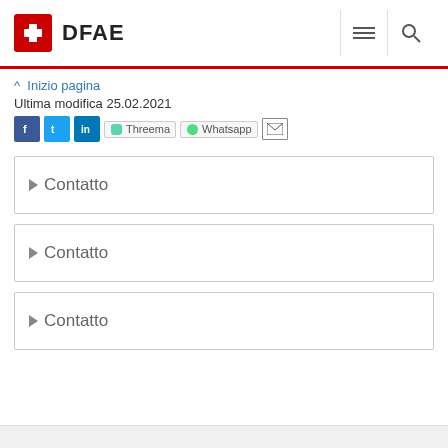DFAE
^ Inizio pagina
Ultima modifica 25.02.2021
[Figure (infographic): Social sharing icons: Facebook, Twitter, LinkedIn, Threema, Whatsapp, Email]
Contatto
Contatto
Contatto